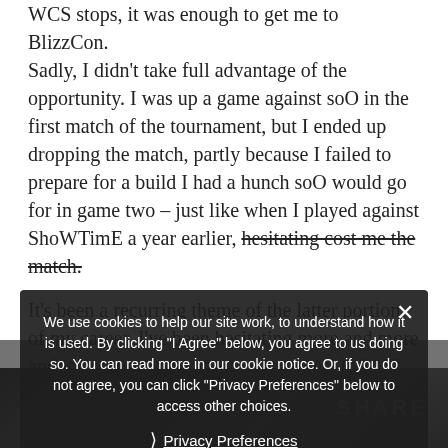WCS stops, it was enough to get me to BlizzCon.
Sadly, I didn't take full advantage of the opportunity. I was up a game against soO in the first match of the tournament, but I ended up dropping the match, partly because I failed to prepare for a build I had a hunch soO would go for in game two – just like when I played against ShoWTimE a year earlier, hesitating cost me the match.
It's been a recurring theme of the latter portion of my career. I've been hesitating more and more and it's costing me important matches. In 2012 Nerchio would have been afraid of me. I'm not that player anymore.
We use cookies to help our site work, to understand how it is used. By clicking "I Agree" below, you agree to us doing so. You can read more in our cookie notice. Or, if you do not agree, you can click "Privacy Preferences" below to access other choices.
Privacy Preferences
I Agree
[Figure (photo): Dark background strip at the bottom of the page with a SHARE button label]